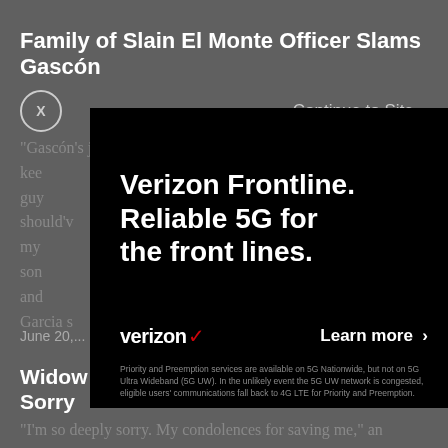Family of Slain El Monte Officer Slams Gascón
"Gascón's just letting all these criminals out and they just kee... ...hat guy should'v... ...ut, my son and... ...ga Garcia s...
June 20,...
[Figure (infographic): Verizon Frontline advertisement overlay on a dark background. Shows 'Verizon Frontline. Reliable 5G for the front lines.' in bold white text, Verizon logo with red checkmark, 'Learn more >' button, and disclaimer text about Priority and Preemption services.]
Widow of El Monte Cop Killer Says She's Sorry
"I'm so deeply sorry. My condolences for saving me," an